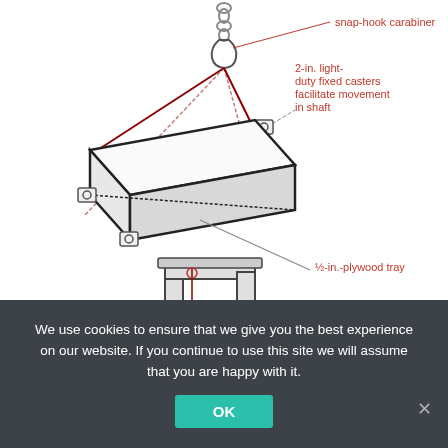[Figure (engineering-diagram): Technical illustration of a plywood tray lifting assembly. A snap-hook carabiner at the top connects via red diagonal cables to a rectangular ½-in. plywood tray. The tray has 2-in. light-duty fixed casters on its corners to facilitate movement in shaft. Labels and leader lines call out: snap-hook carabiner (top), 2-in. light-duty fixed casters facilitate movement in shaft (upper right), ½-in.-plywood tray (lower right). Below the tray diagram is a partial second diagram showing a hoist/lifting mechanism at a doorway threshold.]
We use cookies to ensure that we give you the best experience on our website. If you continue to use this site we will assume that you are happy with it.